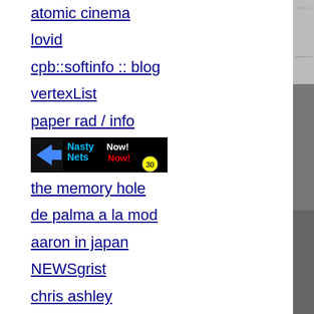atomic cinema
lovid
cpb::softinfo :: blog
vertexList
paper rad / info
[Figure (logo): Nasty Nets Now! banner image with arrow icon and colorful text on black background]
the memory hole
de palma a la mod
aaron in japan
NEWSgrist
chris ashley
comiclopedia
discogs
[Figure (photo): Black and white photograph of an urban scene showing a building corner with metal panels and what appears to be industrial equipment or machinery in the lower right]